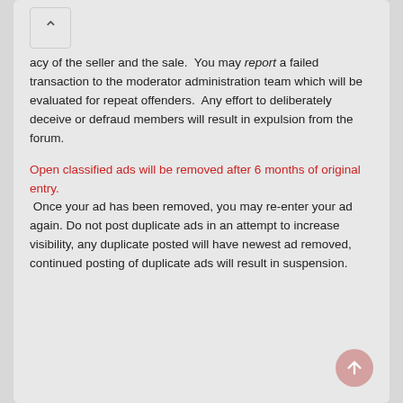…tes on of the forum. It is your responsibility to validate the legitimacy of the seller and the sale. You may report a failed transaction to the moderator administration team which will be evaluated for repeat offenders. Any effort to deliberately deceive or defraud members will result in expulsion from the forum.
Open classified ads will be removed after 6 months of original entry. Once your ad has been removed, you may re-enter your ad again. Do not post duplicate ads in an attempt to increase visibility, any duplicate posted will have newest ad removed, continued posting of duplicate ads will result in suspension.